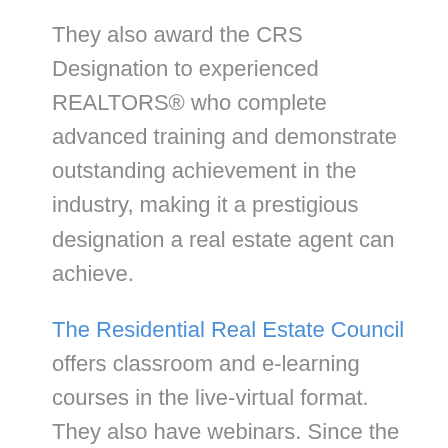They also award the CRS Designation to experienced REALTORS® who complete advanced training and demonstrate outstanding achievement in the industry, making it a prestigious designation a real estate agent can achieve.
The Residential Real Estate Council offers classroom and e-learning courses in the live-virtual format. They also have webinars. Since the Delaware Real Estate Commission requires a course timer for all online courses, their courses time out automatically after several minutes of inactivity.